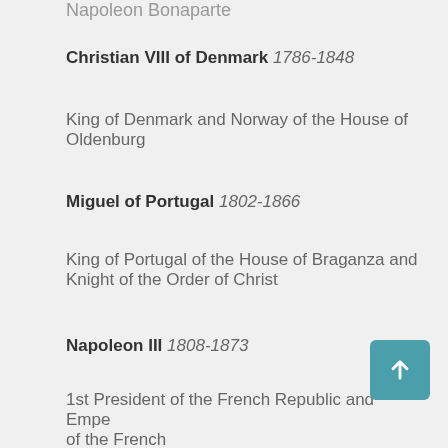Napoleon Bonaparte
Christian VIII of Denmark 1786-1848
King of Denmark and Norway of the House of Oldenburg
Miguel of Portugal 1802-1866
King of Portugal of the House of Braganza and Knight of the Order of Christ
Napoleon III 1808-1873
1st President of the French Republic and Emperor of the French